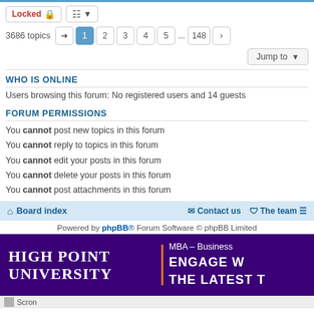Locked | sort controls
3686 topics — pagination: 1 2 3 4 5 ... 148 >
Jump to
WHO IS ONLINE
Users browsing this forum: No registered users and 14 guests
FORUM PERMISSIONS
You cannot post new topics in this forum
You cannot reply to topics in this forum
You cannot edit your posts in this forum
You cannot delete your posts in this forum
You cannot post attachments in this forum
Board index   Contact us   The team
Powered by phpBB® Forum Software © phpBB Limited
[Figure (illustration): High Point University advertisement banner — purple background with 'HIGH POINT UNIVERSITY' in white serif font on the left, and 'MBA — Business... ENGAGE W... THE LATEST T...' in white bold text on the right with an orange divider line.]
Scron